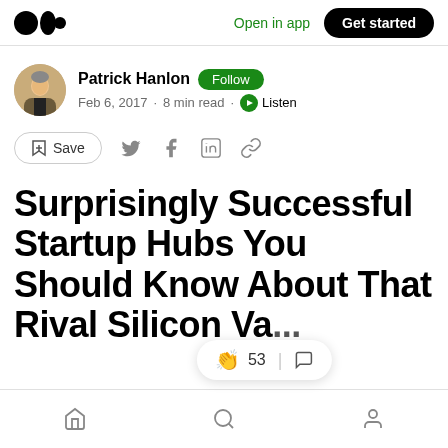Open in app  Get started
Patrick Hanlon  Follow
Feb 6, 2017 · 8 min read · Listen
Save
Surprisingly Successful Startup Hubs You Should Know About That Rival Silicon Va...
👏 53
Home  Search  Profile